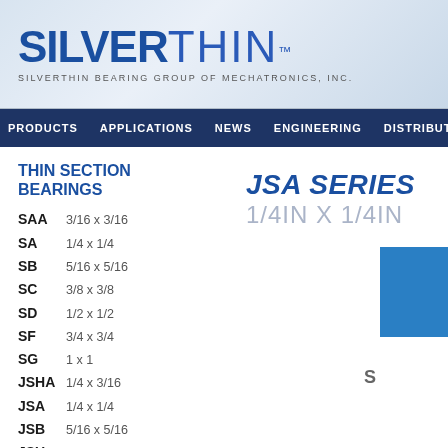[Figure (logo): SilverThin logo - SILVER in bold blue, THIN in lighter blue with TM mark, subtitle: SILVERTHIN BEARING GROUP OF MECHATRONICS, INC.]
PRODUCTS   APPLICATIONS   NEWS   ENGINEERING   DISTRIBUTION
THIN SECTION BEARINGS
JSA SERIES 1/4IN X 1/4IN
SAA  3/16 x 3/16
SA  1/4 x 1/4
SB  5/16 x 5/16
SC  3/8 x 3/8
SD  1/2 x 1/2
SF  3/4 x 3/4
SG  1 x 1
JSHA  1/4 x 3/16
JSA  1/4 x 1/4
JSB  5/16 x 5/16
JSU  3/8 x 1/2